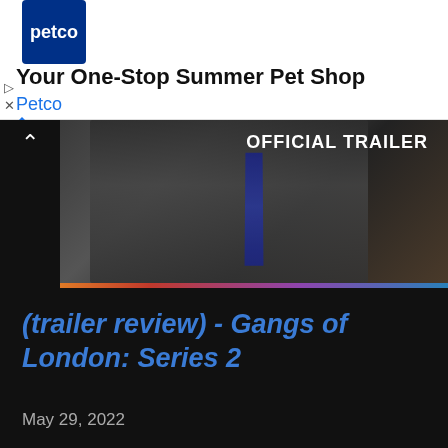[Figure (screenshot): Petco advertisement banner with logo, 'Your One-Stop Summer Pet Shop' headline, 'Petco' brand name, and a blue diamond arrow icon. Play and close controls on the left.]
[Figure (screenshot): Video thumbnail showing man in suit with 'OFFICIAL TRAILER' text overlay, a progress bar gradient from orange to blue at the bottom, and an up-arrow chevron on the left.]
(trailer review) - Gangs of London: Series 2
May 29, 2022
SHARE   POST A COMMENT   READ MORE